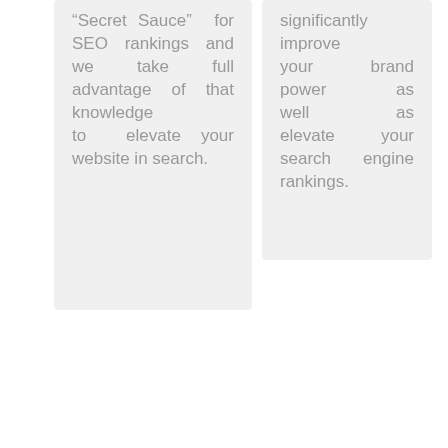“Secret Sauce” for SEO rankings and we take full advantage of that knowledge to elevate your website in search.
significantly improve your brand power as well as elevate your search engine rankings.